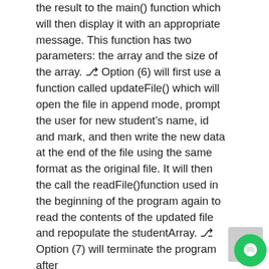the result to the main() function which will then display it with an appropriate message. This function has two parameters: the array and the size of the array. ▯ Option (6) will first use a function called updateFile() which will open the file in append mode, prompt the user for new student's name, id and mark, and then write the new data at the end of the file using the same format as the original file. It will then the call the readFile()function used in the beginning of the program again to read the contents of the updated file and repopulate the studentArray. ▯ Option (7) will terminate the program after